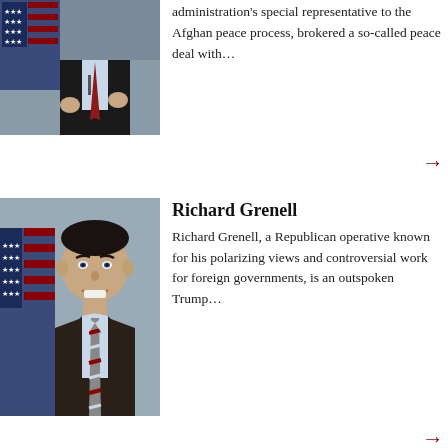[Figure (photo): A man in a dark suit speaking at a podium with an American flag in the background, gesturing with his hands.]
administration's special representative to the Afghan peace process, brokered a so-called peace deal with…
[Figure (photo): Richard Grenell, a man in a dark suit with a striped tie, smiling in front of an American flag background.]
Richard Grenell
Richard Grenell, a Republican operative known for his polarizing views and controversial work for foreign governments, is an outspoken Trump…